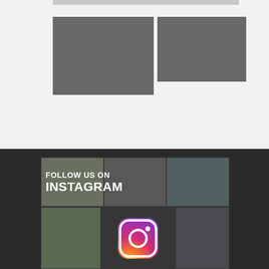[Figure (photo): Two grey placeholder photo boxes on light grey background]
[Figure (infographic): Follow us on Instagram banner with Instagram logo, photos in grid layout on dark background]